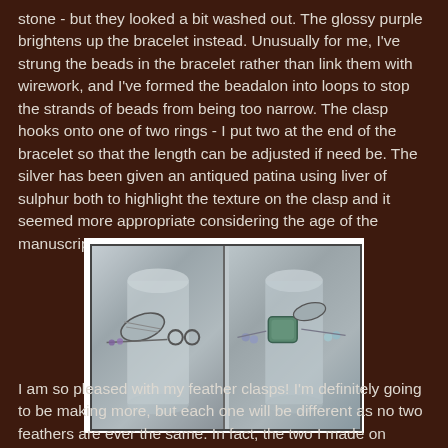stone - but they looked a bit washed out. The glossy purple brightens up the bracelet instead. Unusually for me, I've strung the beads in the bracelet rather than link them with wirework, and I've formed the beadalon into loops to stop the strands of beads from being too narrow. The clasp hooks onto one of two rings - I put two at the end of the bracelet so that the length can be adjusted if need be. The silver has been given an antiqued patina using liver of sulphur both to highlight the texture on the clasp and it seemed more appropriate considering the age of the manuscript.
[Figure (photo): Two photos side by side showing a bracelet with a leaf/feather clasp on a silver display stand. Left photo shows the clasp and chain rings detail; right photo shows a green stone/bead element with crystal beads.]
I am so pleased with my feather clasps! I'm definitely going to be making more, but each one will be different as no two feathers are ever the same. In fact, the two I made on